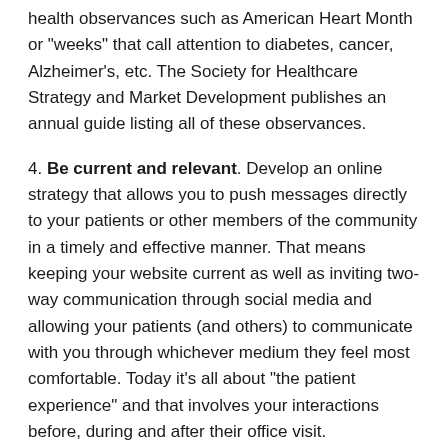health observances such as American Heart Month or “weeks” that call attention to diabetes, cancer, Alzheimer’s, etc. The Society for Healthcare Strategy and Market Development publishes an annual guide listing all of these observances.
4. Be current and relevant. Develop an online strategy that allows you to push messages directly to your patients or other members of the community in a timely and effective manner. That means keeping your website current as well as inviting two-way communication through social media and allowing your patients (and others) to communicate with you through whichever medium they feel most comfortable. Today it’s all about “the patient experience” and that involves your interactions before, during and after their office visit.
5. Leverage hospital relationships. Let your affiliated